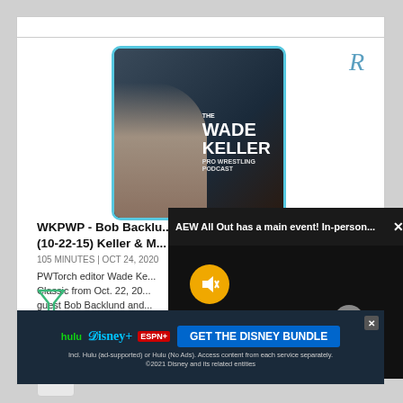[Figure (photo): Wade Keller Pro Wrestling Podcast logo image showing a man with headphones and podcast branding text]
R
WKPWP - Bob Backlund (10-22-15) Keller & M...
105 MINUTES | OCT 24, 2020
PWTorch editor Wade Ke... Classic from Oct. 22, 20... guest Bob Backlund and... columnist Bruce Mitchell... presented email question...
[Figure (screenshot): AEW All Out notification bar overlay: 'AEW All Out has a main event! In-person...' with close X button, dark video player area with muted yellow circle button and gray close circle]
J
[Figure (infographic): Disney Bundle advertisement banner showing Hulu, Disney+, ESPN+ logos and GET THE DISNEY BUNDLE button with fine print]